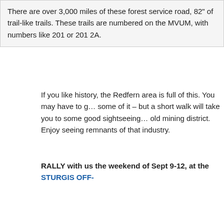There are over 3,000 miles of these forest service road, 82" trail-like trails. These trails are numbered on the MVUM, with numbers like 201 or 201 2A.
If you like history, the Redfern area is full of this. You may have to go off-trail to see some of it – but a short walk will take you to some good sightseeing in an old mining district. Enjoy seeing remnants of that industry.
RALLY with us the weekend of Sept 9-12, at the STURGIS OFF...
Trails in this area are some of the most popular in the Black Hills. T... and in the middle of everywhere else.